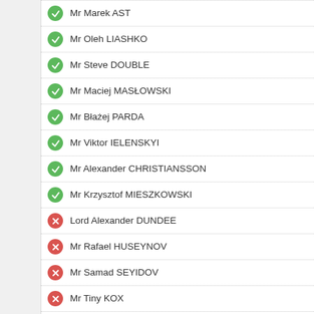Mr Marek AST
Mr Oleh LIASHKO
Mr Steve DOUBLE
Mr Maciej MASŁOWSKI
Mr Błażej PARDA
Mr Viktor IELENSKYI
Mr Alexander CHRISTIANSSON
Mr Krzysztof MIESZKOWSKI
Lord Alexander DUNDEE
Mr Rafael HUSEYNOV
Mr Samad SEYIDOV
Mr Tiny KOX
Mr Pieter OMTZIGT
Ms Lise CHRISTOFFERSEN
Ms Ganira PASHAYEVA
M. Sabir HAJIYEV
Mr Piero FASSINO